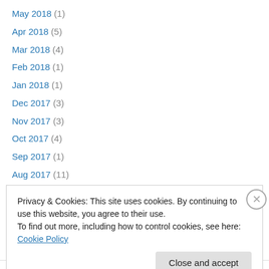May 2018 (1)
Apr 2018 (5)
Mar 2018 (4)
Feb 2018 (1)
Jan 2018 (1)
Dec 2017 (3)
Nov 2017 (3)
Oct 2017 (4)
Sep 2017 (1)
Aug 2017 (11)
Jul 2017 (10)
Jun 2017 (12)
May 2017 (9)
Privacy & Cookies: This site uses cookies. By continuing to use this website, you agree to their use.
To find out more, including how to control cookies, see here: Cookie Policy
Close and accept